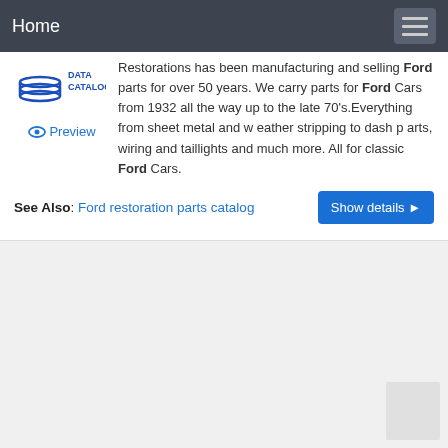Home
[Figure (logo): DATA CATALOG logo with stacked discs icon in blue]
Preview
Restorations has been manufacturing and selling Ford parts for over 50 years. We carry parts for Ford Cars from 1932 all the way up to the late 70's.Everything from sheet metal and w eather stripping to dash p arts, wiring and taillights and much more. All for classic Ford Cars.
See Also: Ford restoration parts catalog
Show details